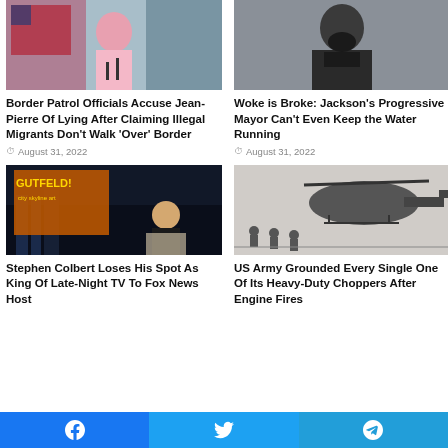[Figure (photo): Woman in pink blazer at White House press briefing podium with American flag in background]
Border Patrol Officials Accuse Jean-Pierre Of Lying After Claiming Illegal Migrants Don't Walk 'Over' Border
August 31, 2022
[Figure (photo): Man with beard in dark jacket against neutral background]
Woke is Broke: Jackson's Progressive Mayor Can't Even Keep the Water Running
August 31, 2022
[Figure (photo): Greg Gutfeld seated on Gutfeld! TV show set with cityscape backdrop]
Stephen Colbert Loses His Spot As King Of Late-Night TV To Fox News Host
[Figure (photo): Black and white photo of military helicopter with soldiers running]
US Army Grounded Every Single One Of Its Heavy-Duty Choppers After Engine Fires
Facebook Twitter Telegram